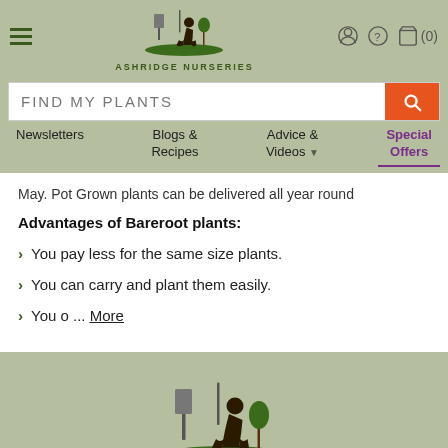[Figure (logo): Ashridge Nurseries logo with silhouette of a gardener kneeling near a tree and shovels, with text ASHRIDGE NURSERIES below]
FIND MY PLANTS
Newsletters
Blogs & Recipes
Advice & Videos
Special Offers
May. Pot Grown plants can be delivered all year round
Advantages of Bareroot plants:
You pay less for the same size plants.
You can carry and plant them easily.
You o ... More
[Figure (logo): Ashridge Nurseries footer logo: silhouette of gardener kneeling by tree with shovels, text ASHRIDGE NURSERIES below]
LATEST FROM ASHRIDGE NURSERIES...